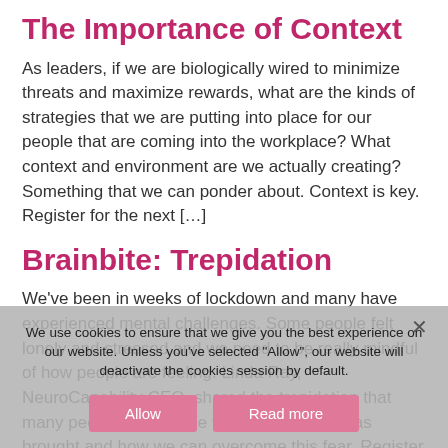The Importance of Context
As leaders, if we are biologically wired to minimize threats and maximize rewards, what are the kinds of strategies that we are putting into place for our people that are coming into the workplace? What context and environment are we actually creating? Something that we can ponder about. Context is key. Register for the next […]
Brainbite: Trepidation
We've been in weeks of lockdown and many have experienced mental challenges. Some people felt lonely and stressed and we need to be really mindful of how people are feeling. Linda Ray, NeuroCapability CEO, shared the trepidation that many people experience that this situation has brought and how we can overcome this fear. Register for […]
We use cookies to ensure that we give you the best experience on our website. Unless you've selected "Allow", our website will deactivate the cookies session by default.